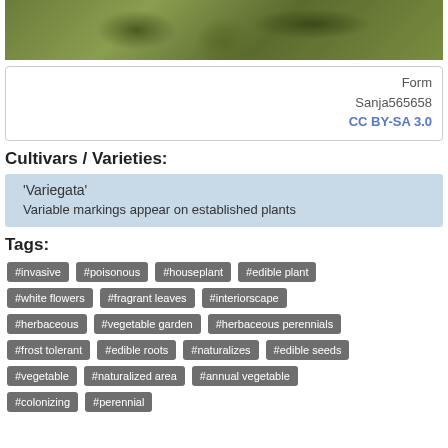[Figure (photo): Close-up photo of grass and dry vegetation on ground]
Form
Sanja565658
CC BY-SA 3.0
Cultivars / Varieties:
'Variegata'
Variable markings appear on established plants
Tags:
#invasive
#poisonous
#houseplant
#edible plant
#white flowers
#fragrant leaves
#interiorscape
#herbaceous
#vegetable garden
#herbaceous perennials
#frost tolerant
#edible roots
#naturalizes
#edible seeds
#vegetable
#naturalized area
#annual vegetable
#colonizing
#perennial